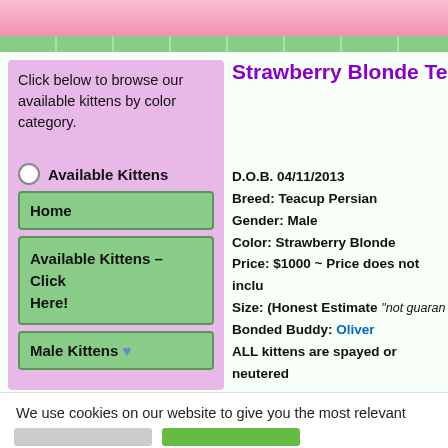Decorative top bar with pink and green stripes
Click below to browse our available kittens by color category.
Available Kittens
Home
Available Kittens – Click Here!
Male Kittens 💙
Strawberry Blonde Teacup
D.O.B. 04/11/2013
Breed: Teacup Persian
Gender: Male
Color: Strawberry Blonde
Price: $1000 ~ Price does not inclu...
Size: (Honest Estimate "not guaran...
Bonded Buddy: Oliver
ALL kittens are spayed or neutered
E-mail Us | Kitten Application | One K...
We use cookies on our website to give you the most relevant experience by remembering your preferences and repeat visits. By clicking “Accept”, you consent to the use of ALL the cookies.
Do not sell my personal information.